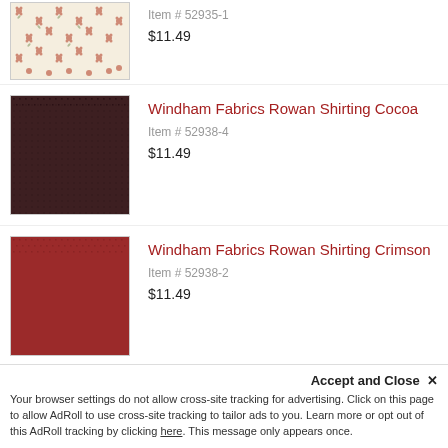[Figure (photo): Partial view of floral fabric swatch - cream background with small red floral pattern]
Item # 52935-1
$11.49
[Figure (photo): Dark cocoa/maroon fabric swatch with subtle dot texture]
Windham Fabrics Rowan Shirting Cocoa
Item # 52938-4
$11.49
[Figure (photo): Crimson red fabric swatch with subtle dot texture]
Windham Fabrics Rowan Shirting Crimson
Item # 52938-2
$11.49
[Figure (photo): Ivory/light pink fabric swatch with subtle dot texture - partially visible]
Windham Fabrics Rowan Shirting Ivory
Accept and Close ✕
Your browser settings do not allow cross-site tracking for advertising. Click on this page to allow AdRoll to use cross-site tracking to tailor ads to you. Learn more or opt out of this AdRoll tracking by clicking here. This message only appears once.